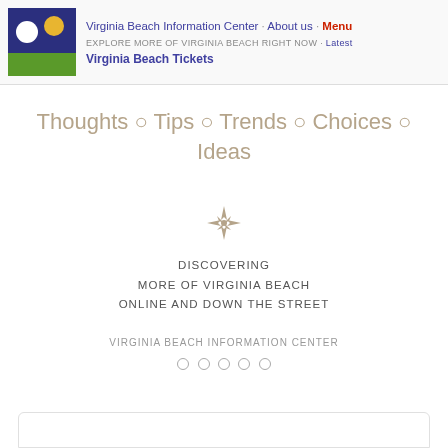Virginia Beach Information Center · About us · Menu | EXPLORE MORE OF VIRGINIA BEACH RIGHT NOW · Latest | Virginia Beach Tickets
Thoughts ○ Tips ○ Trends ○ Choices ○ Ideas
[Figure (illustration): Compass rose / wind rose decorative icon in tan/gold color]
DISCOVERING
MORE OF VIRGINIA BEACH
ONLINE AND DOWN THE STREET
VIRGINIA BEACH INFORMATION CENTER
○ ○ ○ ○ ○